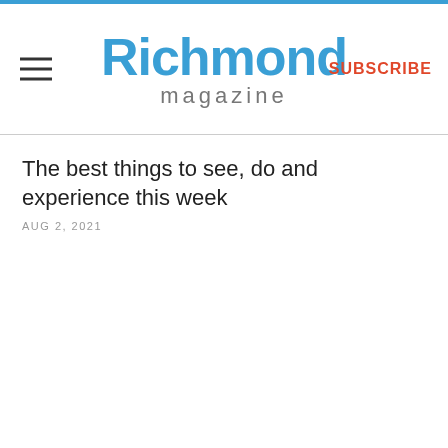Richmond magazine
The best things to see, do and experience this week
AUG 2, 2021